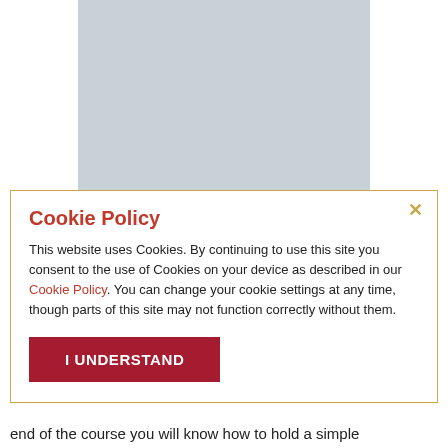[Figure (other): Gray placeholder image rectangle in the upper center of the page]
Cookie Policy
This website uses Cookies. By continuing to use this site you consent to the use of Cookies on your device as described in our Cookie Policy. You can change your cookie settings at any time, though parts of this site may not function correctly without them.
I UNDERSTAND
end of the course you will know how to hold a simple